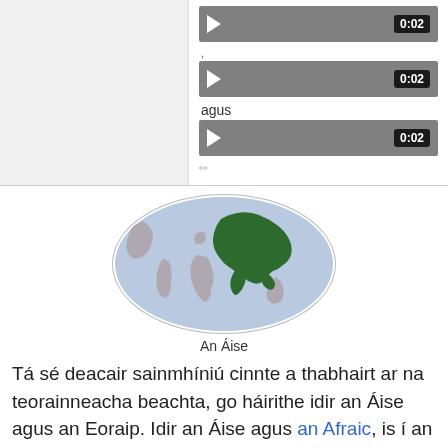[Figure (screenshot): Audio player controls showing three play bars each with 0:02 timestamp, with a small pencil edit icon at the bottom]
[Figure (map): World map in oval projection with Asia highlighted in dark green, rest of continents in grey]
An Áise
Tá sé deacair sainmhíniú cinnte a thabhairt ar na teorainneacha beachta, go háirithe idir an Áise agus an Eoraip. Idir an Áise agus an Afraic, is í an caol talún Suez